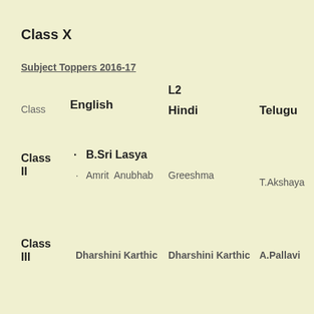Class X
Subject Toppers 2016-17
| Class | English | L2 | Hindi | Telugu |
| --- | --- | --- | --- | --- |
| Class II | · B.Sri Lasya |  |  |  |
| Class II | · Amrit Anubhab | Greeshma |  | T.Akshaya |
| Class III | Dharshini Karthic | Dharshini Karthic |  | A.Pallavi |
| Class |  |  |  | · Veda |